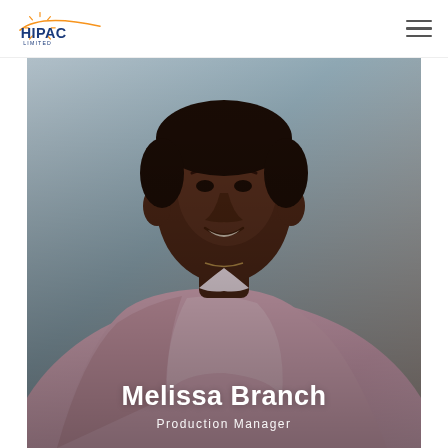HIPAC LIMITED
[Figure (photo): Professional portrait photo of Melissa Branch, a woman wearing a pink button-down shirt, smiling, against a grey-blue background.]
Melissa Branch
Production Manager